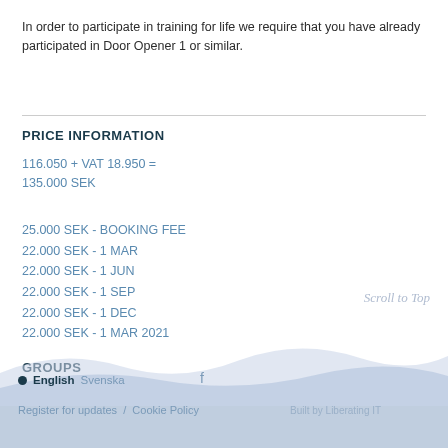In order to participate in training for life we require that you have already participated in Door Opener 1 or similar.
PRICE INFORMATION
116.050 + VAT 18.950 =
135.000 SEK
25.000 SEK - BOOKING FEE
22.000 SEK - 1 MAR
22.000 SEK - 1 JUN
22.000 SEK - 1 SEP
22.000 SEK - 1 DEC
22.000 SEK - 1 MAR 2021
GROUPS
English  Svenska    Register for updates / Cookie Policy  Built by Liberating IT